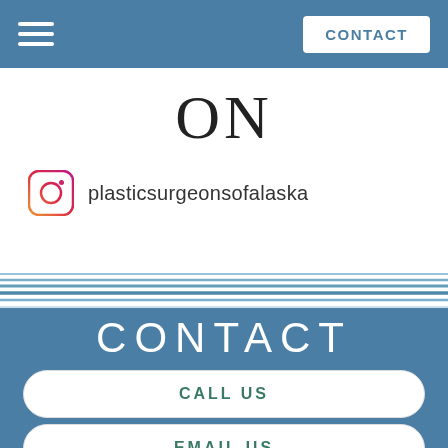CONTACT
ON
plasticsurgeonsofalaska
[Figure (illustration): Decorative wave/stripe divider with blue and white horizontal lines]
CONTACT
CALL US
EMAIL US